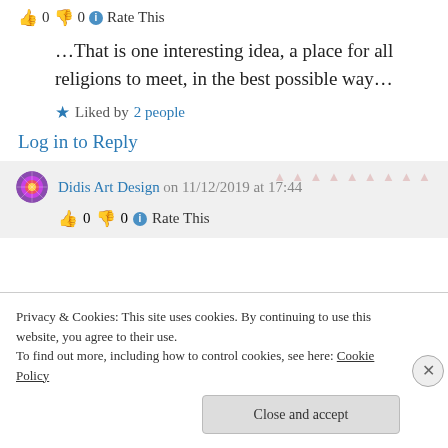👍 0 👎 0 ℹ Rate This
…That is one interesting idea, a place for all religions to meet, in the best possible way…
★ Liked by 2 people
Log in to Reply
Didis Art Design on 11/12/2019 at 17:44
👍 0 👎 0 ℹ Rate This
Privacy & Cookies: This site uses cookies. By continuing to use this website, you agree to their use.
To find out more, including how to control cookies, see here: Cookie Policy
Close and accept